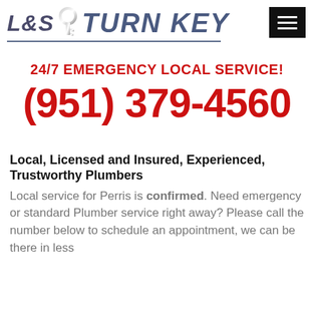[Figure (logo): L&S Turn Key logo with stylized key icon and italic bold text, with an underline]
[Figure (other): Black hamburger menu button with three white horizontal lines]
24/7 EMERGENCY LOCAL SERVICE!
(951) 379-4560
Local, Licensed and Insured, Experienced, Trustworthy Plumbers
Local service for Perris is confirmed. Need emergency or standard Plumber service right away? Please call the number below to schedule an appointment, we can be there in less than 60 minutes!